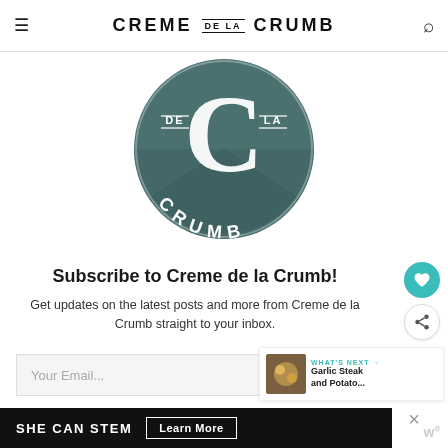CREME DE LA CRUMB
[Figure (logo): Creme de la Crumb circular logo in dark teal/slate green with large white C letterform and text 'DE LA CRUMB' arranged in a circle]
Subscribe to Creme de la Crumb!
Get updates on the latest posts and more from Creme de la Crumb straight to your inbox.
Your Email...
[Figure (screenshot): SHE CAN STEM advertisement banner with Learn More button]
[Figure (screenshot): What's Next panel showing Garlic Steak and Potato... with thumbnail]